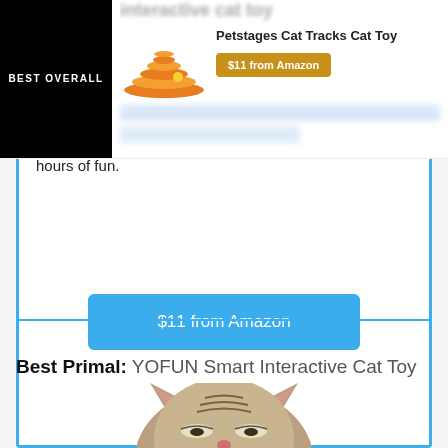[Figure (screenshot): Top overlay showing 'BEST OVERALL' badge in black, orange Petstages Cat Tracks Cat Toy product image, product title 'Petstages Cat Tracks Cat Toy', and a gold '$11 from Amazon' button. Partially visible blurred text lines below.]
hours of fun.
$11 from Amazon
Best Primal: YOFUN Smart Interactive Cat Toy
[Figure (photo): Tabby kitten with eyes partially closed, facing forward, cropped at the top of the frame.]